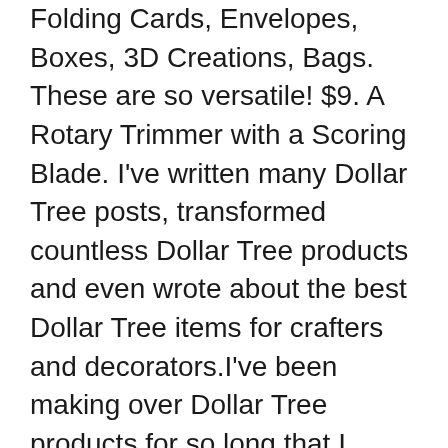Folding Cards, Envelopes, Boxes, 3D Creations, Bags. These are so versatile! $9. A Rotary Trimmer with a Scoring Blade. I've written many Dollar Tree posts, transformed countless Dollar Tree products and even wrote about the best Dollar Tree items for crafters and decorators.I've been making over Dollar Tree products for so long that I wanted to share an updated list of the 50 best items to buy at Dollar Tree. Hooks, hangers, baskets and buckets can all give you extra space to store things in the closet. I own a small business and launched some products that required both using the cut tool AND the score tool and it was SO handy to use. AUDIT Decision Tree. (I'm incapable of buying just one of anything I like pairs and